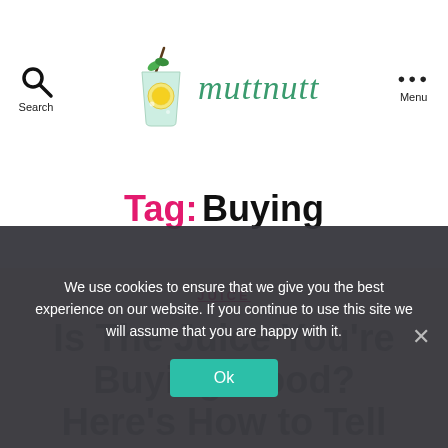Search | muttnutt | Menu
Tag: Buying
JUICE
Is The Juice You're Buying Good? Here's How to Tell
We use cookies to ensure that we give you the best experience on our website. If you continue to use this site we will assume that you are happy with it.
Ok